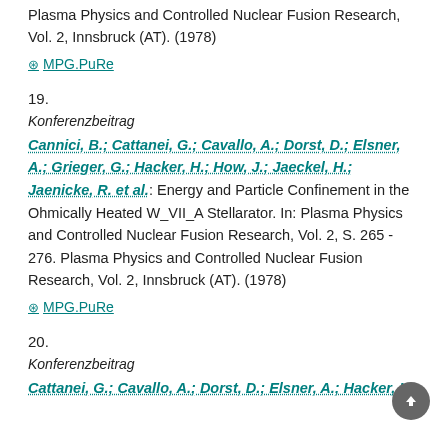Plasma Physics and Controlled Nuclear Fusion Research, Vol. 2, Innsbruck (AT). (1978)
⊛ MPG.PuRe
19.
Konferenzbeitrag
Cannici, B.; Cattanei, G.; Cavallo, A.; Dorst, D.; Elsner, A.; Grieger, G.; Hacker, H.; How, J.; Jaeckel, H.; Jaenicke, R. et al.: Energy and Particle Confinement in the Ohmically Heated W_VII_A Stellarator. In: Plasma Physics and Controlled Nuclear Fusion Research, Vol. 2, S. 265 - 276. Plasma Physics and Controlled Nuclear Fusion Research, Vol. 2, Innsbruck (AT). (1978)
⊛ MPG.PuRe
20.
Konferenzbeitrag
Cattanei, G.; Cavallo, A.; Dorst, D.; Elsner, A.; Hacker, H.;